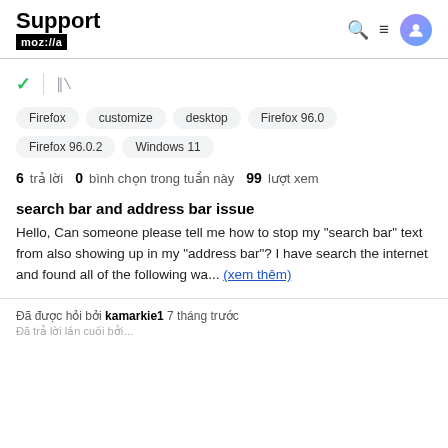Support mozilla//a
Firefox
customize
desktop
Firefox 96.0
Firefox 96.0.2
Windows 11
6 trả lời  0 bình chọn trong tuần này  99 lượt xem
search bar and address bar issue
Hello, Can someone please tell me how to stop my "search bar" text from also showing up in my "address bar"? I have search the internet and found all of the following wa... (xem thêm)
Đã được hỏi bởi kamarkie1 7 tháng trước